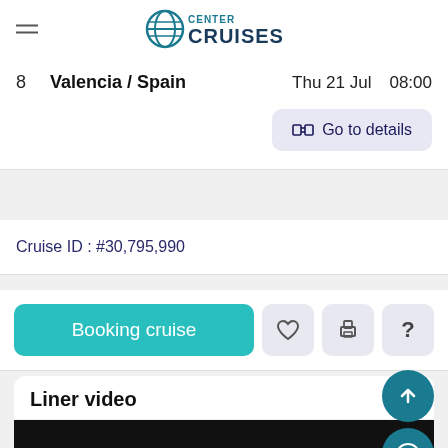CENTER CRUISES
| # | Port | Day/Date | Time |
| --- | --- | --- | --- |
| 8 | Valencia / Spain | Thu 21 Jul | 08:00 |
Go to details
Cruise ID : #30,795,990
Booking cruise
Liner video